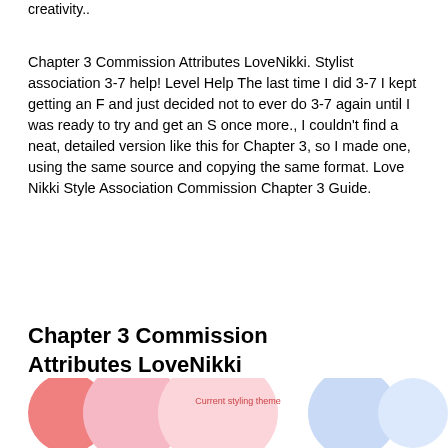creativity..
Chapter 3 Commission Attributes LoveNikki. Stylist association 3-7 help! Level Help The last time I did 3-7 I kept getting an F and just decided not to ever do 3-7 again until I was ready to try and get an S once more., I couldn't find a neat, detailed version like this for Chapter 3, so I made one, using the same source and copying the same format. Love Nikki Style Association Commission Chapter 3 Guide.
Chapter 3 Commission Attributes LoveNikki
[Figure (screenshot): Partial screenshot showing circular colored UI elements with text 'Current styling theme' in red/pink]